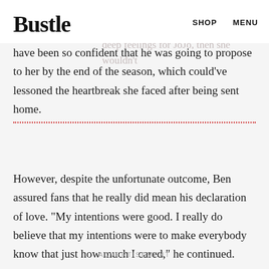Bustle    SHOP    MENU
of course, referring to the fact that had he not deep feelings for JoJo, then she wouldn't have been so confident that he was going to propose to her by the end of the season, which could've lessoned the heartbreak she faced after being sent home.
However, despite the unfortunate outcome, Ben assured fans that he really did mean his declaration of love. "My intentions were good. I really do believe that my intentions were to make everybody know that just how much I cared," he continued.
ADVERTISEMENT